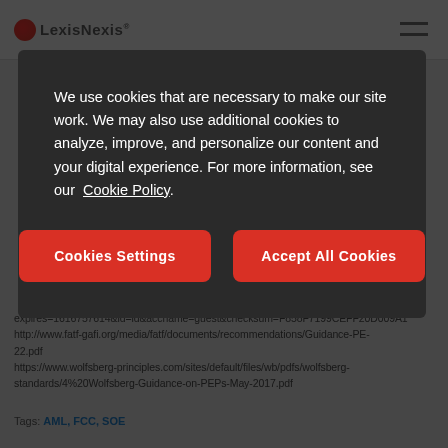[Figure (screenshot): LexisNexis website header with logo and hamburger menu icon]
We use cookies that are necessary to make our site work. We may also use additional cookies to analyze, improve, and personalize our content and your digital experience. For more information, see our Cookie Policy.
Cookies Settings
Accept All Cookies
expires=1616757614&id=id&accname=guest&checksum=F858F7199CEFF20D009A1
http://www.fatf-gafi.org/media/fatf/documents/recommendations/Guidance-PE-22.pdf
https://www.wolfsberg-principles.com/sites/default/files/wb/pdfs/wolfsberg-standards/4%20Wolfsberg-Guidance-on-PEPs-May-2017.pdf
Tags: AML, FCC, SOE